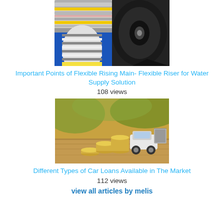[Figure (photo): Photo of flexible hose/pipe products including rolls of black and striped flexible tubing/piping]
Important Points of Flexible Rising Main- Flexible Riser for Water Supply Solution
108 views
[Figure (photo): Photo of stacked coins next to a toy car on a wooden surface with blurred green background, representing car loans]
Different Types of Car Loans Available in The Market
112 views
view all articles by melis